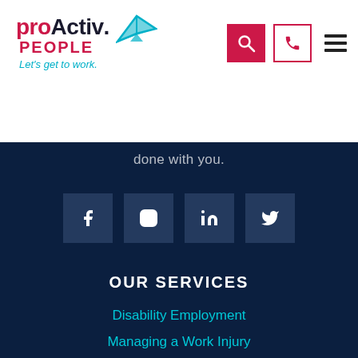[Figure (logo): proActiv. PEOPLE logo with paper plane icon and tagline 'Let's get to work.']
[Figure (infographic): Navigation icons: red search button, phone button with red border, hamburger menu]
done with you.
[Figure (infographic): Social media icons row: Facebook, Instagram, LinkedIn, Twitter — dark navy square buttons]
OUR SERVICES
Disability Employment
Managing a Work Injury